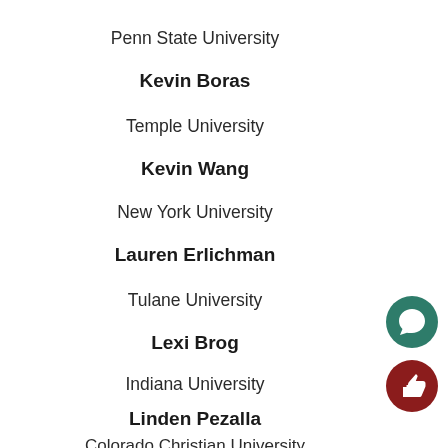Penn State University
Kevin Boras
Temple University
Kevin Wang
New York University
Lauren Erlichman
Tulane University
Lexi Brog
Indiana University
Linden Pezalla
Colorado Christian University